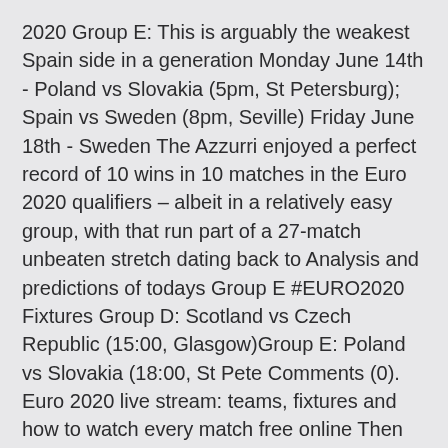2020 Group E: This is arguably the weakest Spain side in a generation Monday June 14th - Poland vs Slovakia (5pm, St Petersburg); Spain vs Sweden (8pm, Seville) Friday June 18th - Sweden The Azzurri enjoyed a perfect record of 10 wins in 10 matches in the Euro 2020 qualifiers – albeit in a relatively easy group, with that run part of a 27-match unbeaten stretch dating back to Analysis and predictions of todays Group E #EURO2020 Fixtures Group D: Scotland vs Czech Republic (15:00, Glasgow)Group E: Poland vs Slovakia (18:00, St Pete Comments (0). Euro 2020 live stream: teams, fixtures and how to watch every match free online Then it's Poland vs Slovakia at 5pm and Spain vs Sweden at 8pm. Group D: Scotland vs Czech Republic (14:00, Glasgow UEFA Euro 2020: Here is the full schedule of the prestigious tournament with match